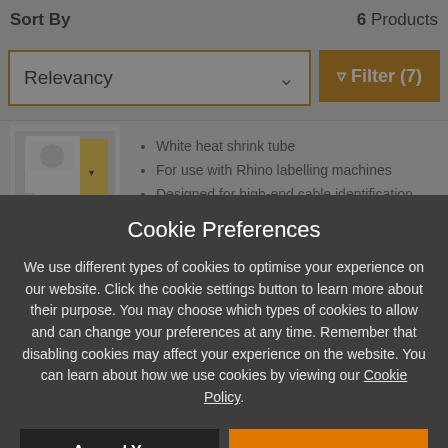Sort By
6 Products
Relevancy
Filter (7)
White heat shrink tube
For use with Rhino labelling machines
Designed for high-end cable identification
Cookie Preferences
We use different types of cookies to optimise your experience on our website. Click the cookie settings button to learn more about their purpose. You may choose which types of cookies to allow and can change your preferences at any time. Remember that disabling cookies may affect your experience on the website. You can learn about how we use cookies by viewing our Cookie Policy.
Amend Your Preference
Accept All Cookies